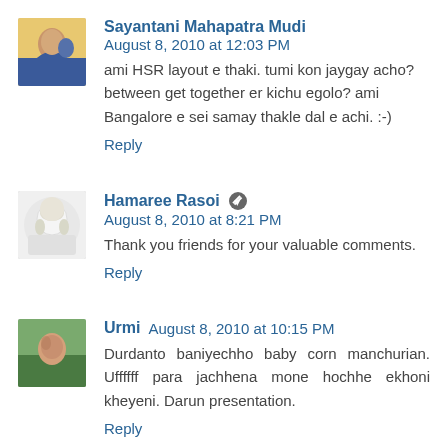Sayantani Mahapatra Mudi  August 8, 2010 at 12:03 PM
ami HSR layout e thaki. tumi kon jaygay acho? between get together er kichu egolo? ami Bangalore e sei samay thakle dal e achi. :-)
Reply
Hamaree Rasoi  August 8, 2010 at 8:21 PM
Thank you friends for your valuable comments.
Reply
Urmi  August 8, 2010 at 10:15 PM
Durdanto baniyechho baby corn manchurian. Uffffff para jachhena mone hochhe ekhoni kheyeni. Darun presentation.
Reply